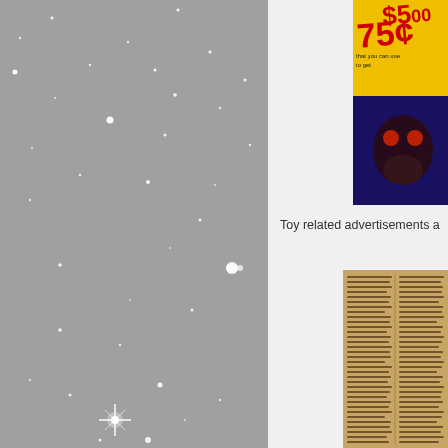[Figure (photo): Star field image on gray background showing multiple white stars and a large bright starburst at the bottom center]
[Figure (photo): Toy advertisement showing yellow background with red text '75c' and '$5.00', dark bottom portion with monster/creature graphic]
Toy related advertisements a
[Figure (photo): Old newspaper clipping with dense text columns, aged yellowish-brown paper]